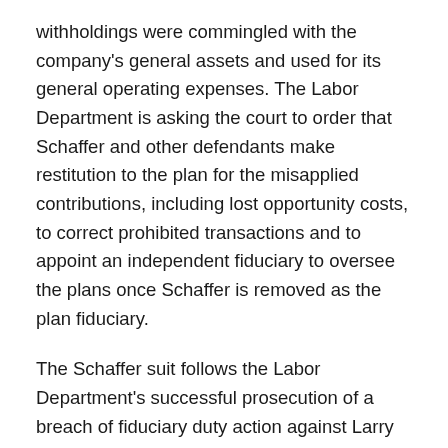withholdings were commingled with the company's general assets and used for its general operating expenses. The Labor Department is asking the court to order that Schaffer and other defendants make restitution to the plan for the misapplied contributions, including lost opportunity costs, to correct prohibited transactions and to appoint an independent fiduciary to oversee the plans once Schaffer is removed as the plan fiduciary.
The Schaffer suit follows the Labor Department's successful prosecution of a breach of fiduciary duty action against Larry Lauterback, the president and former owner of a Minnesota Cement Company, for his role in allowing his construction company to commingle with company assets and divert to company use employee health and 401(k) contributions withheld from employee's pay.  In